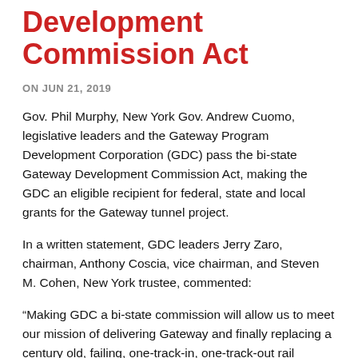Development Commission Act
ON JUN 21, 2019
Gov. Phil Murphy, New York Gov. Andrew Cuomo, legislative leaders and the Gateway Program Development Corporation (GDC) pass the bi-state Gateway Development Commission Act, making the GDC an eligible recipient for federal, state and local grants for the Gateway tunnel project.
In a written statement, GDC leaders Jerry Zaro, chairman, Anthony Coscia, vice chairman, and Steven M. Cohen, New York trustee, commented:
“Making GDC a bi-state commission will allow us to meet our mission of delivering Gateway and finally replacing a century old, failing, one-track-in, one-track-out rail system with modern, reliable, 21st century infrastructure to serve